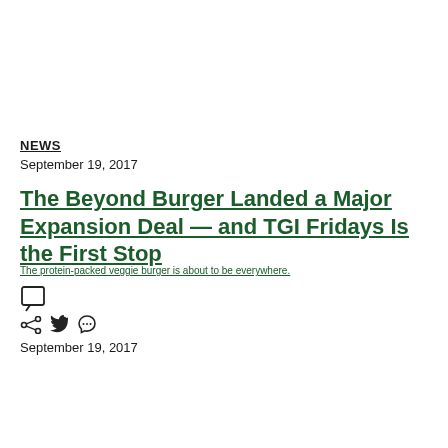NEWS
September 19, 2017
The Beyond Burger Landed a Major Expansion Deal — and TGI Fridays Is the First Stop
The protein-packed veggie burger is about to be everywhere.
September 19, 2017